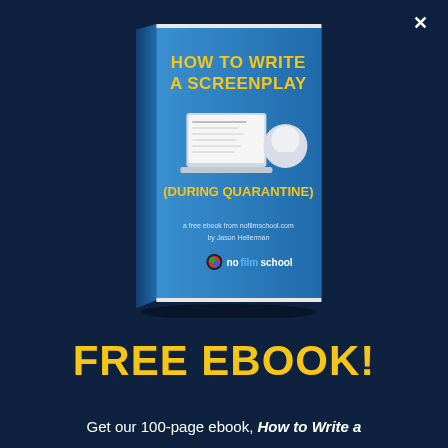[Figure (illustration): 3D book cover titled 'HOW TO WRITE A SCREENPLAY (DURING QUARANTINE)' by Jason Hellerman, a free ebook from nofilmschool.com, with a laptop illustration on the cover, published by No Film School]
FREE EBOOK!
Get our 100-page ebook, How to Write a